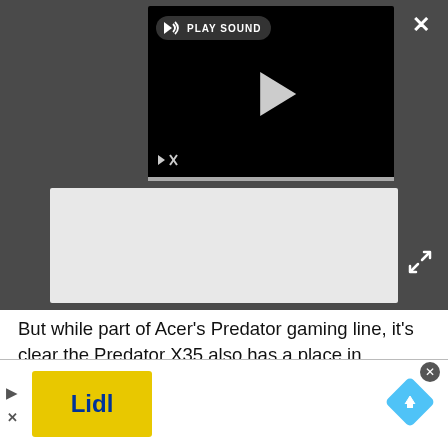[Figure (screenshot): Dark gray bar with embedded video player showing play button, sound/mute icons, and a PLAY SOUND button. Close (X) and expand (arrows) buttons in top-right corners.]
[Figure (screenshot): Light gray advertisement placeholder box below video player.]
But while part of Acer's Predator gaming line, it's clear the Predator X35 also has a place in professional creatives' homes. In addition to its min-LED backlight, it covers 89.5% of the very wide Rec. 2020 gamut for strong 4K colors. The 10-bit panel also covers 99% of the Adobe RGB ...
[Figure (screenshot): Bottom ad bar with Lidl advertisement, skip controls, close button, and navigation arrow icon.]